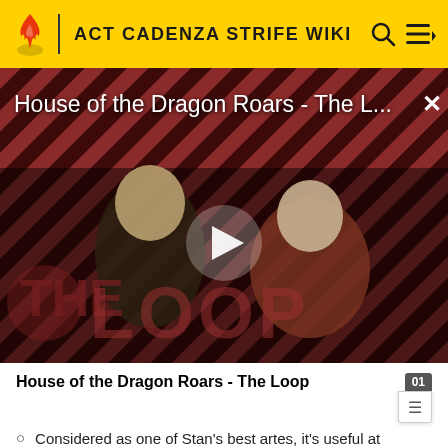ACT CADENZA STRIFE WIKI
[Figure (screenshot): Video thumbnail for 'House of the Dragon Roars - The Loop' showing two characters with a striped red/dark background and 'THE LOOP' watermark. A play button triangle is centered.]
House of the Dragon Roars - The Loop
Considered as one of Stan's best artes, it's useful at shortening the distance between Stan and the enemy either before or during a combo.